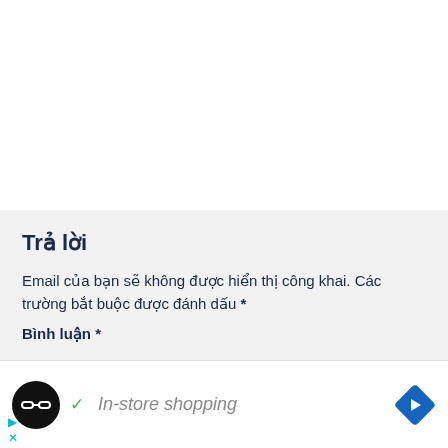Trả lời
Email của bạn sẽ không được hiển thị công khai. Các trường bắt buộc được đánh dấu *
Bình luận *
[Figure (screenshot): Ad bar with circular black logo containing a chain-link icon, a checkmark with 'In-store shopping' text, and a blue navigation diamond arrow icon on the right]